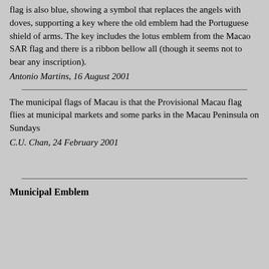flag is also blue, showing a symbol that replaces the angels with doves, supporting a key where the old emblem had the Portuguese shield of arms. The key includes the lotus emblem from the Macao SAR flag and there is a ribbon bellow all (though it seems not to bear any inscription).
Antonio Martins, 16 August 2001
The municipal flags of Macau is that the Provisional Macau flag flies at municipal markets and some parks in the Macau Peninsula on Sundays
C.U. Chan, 24 February 2001
Municipal Emblem